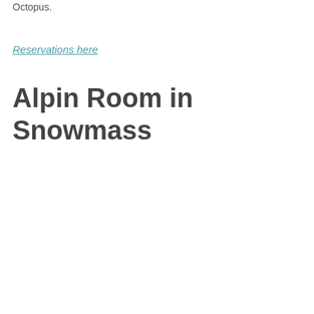Octopus.
Reservations here
Alpin Room in Snowmass